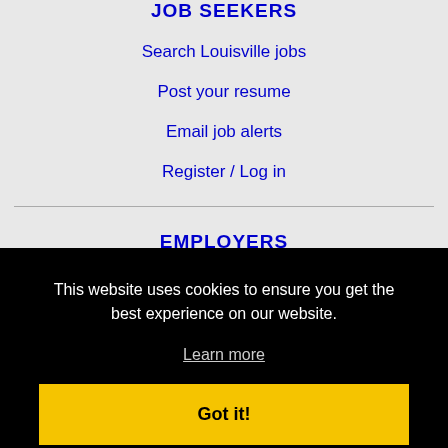JOB SEEKERS
Search Louisville jobs
Post your resume
Email job alerts
Register / Log in
EMPLOYERS
Post jobs
This website uses cookies to ensure you get the best experience on our website.
Learn more
Got it!
Immigration FAQs